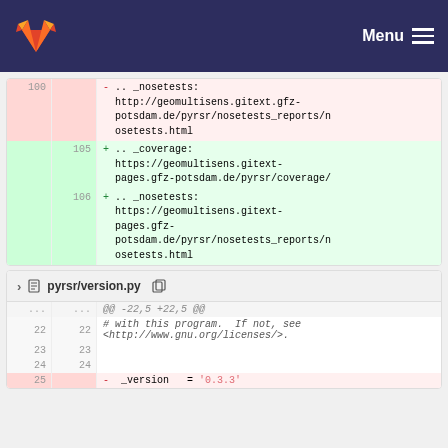Menu
[Figure (screenshot): GitLab diff view showing changes to README and version.py files. Removed lines show http://geomultisens.gitext.gfz-potsdam.de/pyrsr/nosetests_reports/nosetests.html and added lines show coverage and nosetests links using gitext-pages subdomain. Second file pyrsr/version.py shows context lines with program license comment and version = '0.3.3' change.]